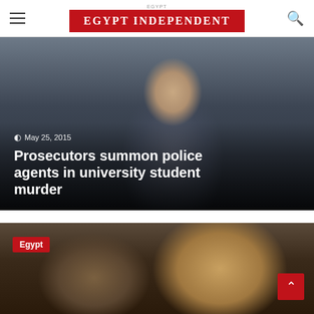EGYPT INDEPENDENT
[Figure (photo): Close-up photo of a young man with curly dark hair, overlaid with headline text and date for a news article about prosecutors summoning police agents in a university student murder.]
May 25, 2015
Prosecutors summon police agents in university student murder
[Figure (photo): Photo showing a person near gold-colored decorative artifacts or sculptures, with an Egypt category badge in the top-left corner.]